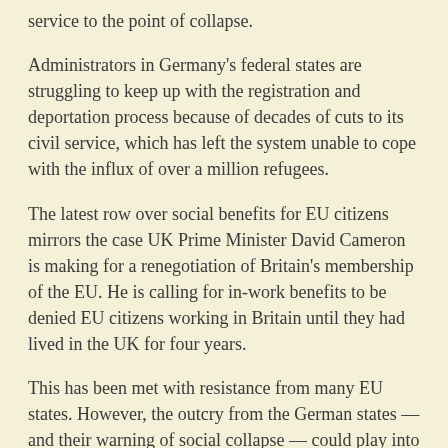service to the point of collapse.
Administrators in Germany's federal states are struggling to keep up with the registration and deportation process because of decades of cuts to its civil service, which has left the system unable to cope with the influx of over a million refugees.
The latest row over social benefits for EU citizens mirrors the case UK Prime Minister David Cameron is making for a renegotiation of Britain's membership of the EU. He is calling for in-work benefits to be denied EU citizens working in Britain until they had lived in the UK for four years.
This has been met with resistance from many EU states. However, the outcry from the German states — and their warning of social collapse — could play into Cameron's hands when he comes to negotiate what he hopes are the final points at the EU summit in February.
Germany last year moved to tighten up its welfare legislation in an effort to prevent benefit abuse. At the time, German interior minister Thomas de Maiziere told reporters: